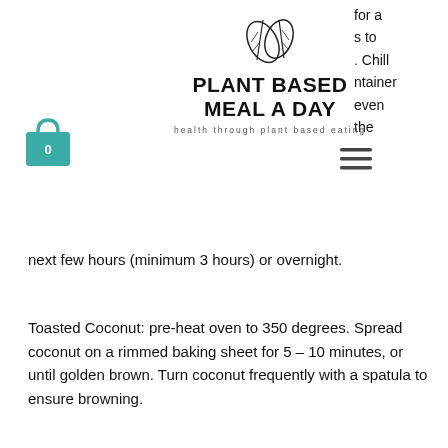[Figure (logo): Plant Based Meal A Day logo with leaf illustration and tagline 'health through plant based eating']
[Figure (illustration): Teal shopping bag icon with number 0]
[Figure (illustration): Hamburger menu icon (three horizontal lines)]
for a s to . Chill ntainer even the next few hours (minimum 3 hours) or overnight.
Toasted Coconut: pre-heat oven to 350 degrees. Spread coconut on a rimmed baking sheet for 5 – 10 minutes, or until golden brown. Turn coconut frequently with a spatula to ensure browning.
[Figure (photo): Close-up photo of chocolate brownies with chocolate frosting and chocolate chips on a striped surface]